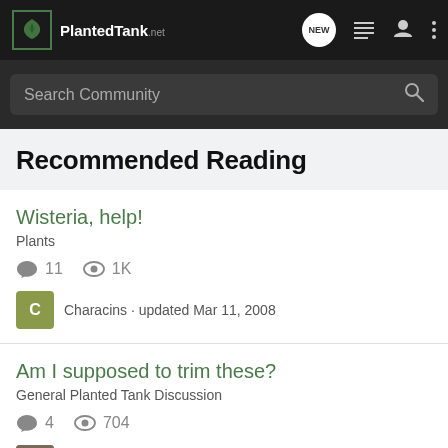Planted Tank — Search Community
Recommended Reading
Wisteria, help!
Plants
11 comments · 1K views · Characins · updated Mar 11, 2008
Am I supposed to trim these?
General Planted Tank Discussion
4 comments · 704 views · Smeagol · updated Mar 28, 2013